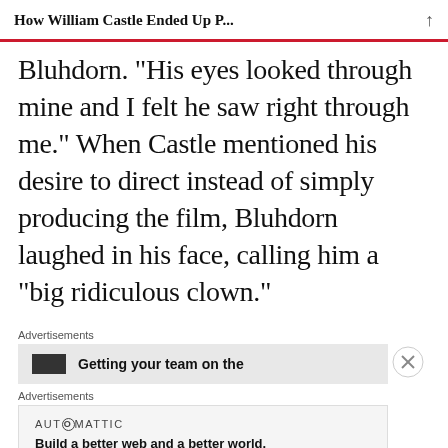How William Castle Ended Up P...
Bluhdorn. "His eyes looked through mine and I felt he saw right through me." When Castle mentioned his desire to direct instead of simply producing the film, Bluhdorn laughed in his face, calling him a “big ridiculous clown.”
Advertisements
Getting your team on the
Advertisements
AUTⓄMATTIC
Build a better web and a better world.